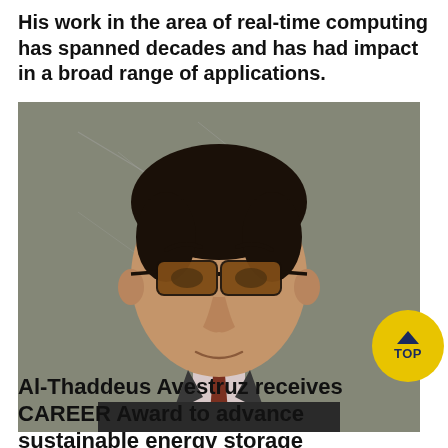His work in the area of real-time computing has spanned decades and has had impact in a broad range of applications.
[Figure (photo): Portrait photo of a man wearing dark-framed glasses with orange tinted lenses, dressed in a dark suit with a patterned tie, in front of a chalkboard background.]
Al-Thaddeus Avestruz receives CAREER Award to advance sustainable energy storage